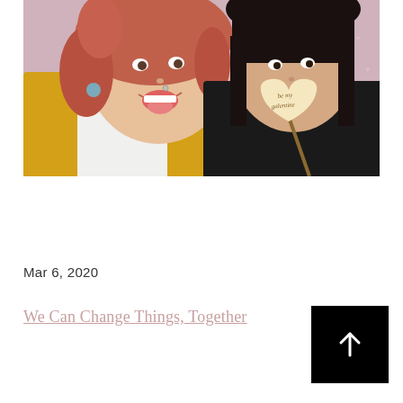[Figure (photo): Two women taking a selfie. The woman on the left has curly reddish-pink hair and is wearing a yellow cardigan, sticking her tongue out and smiling. The woman on the right has dark straight hair and is wearing a black top, holding a heart-shaped sign that reads 'be my galentine' on a stick. The background has small heart patterns.]
Mar 6, 2020
We Can Change Things, Together